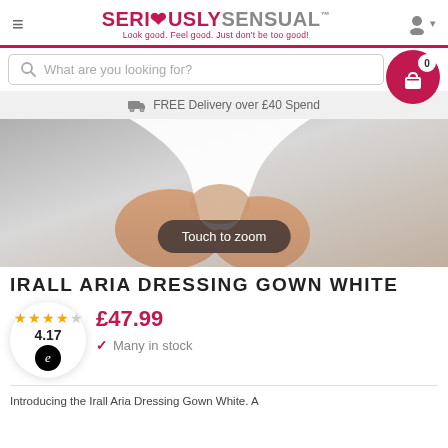SERIOUSLYSENSUAL™ — Look good. Feel good. Just don't be too good!
What are you looking for?
FREE Delivery over £40 Spend
[Figure (photo): Product photo of the Irall Aria Dressing Gown White, showing a person wearing a short white robe/gown, with a 'Touch to zoom' overlay button]
IRALL ARIA DRESSING GOWN WHITE
£47.99
4.17
Many in stock
Introducing the Irall Aria Dressing Gown White. A